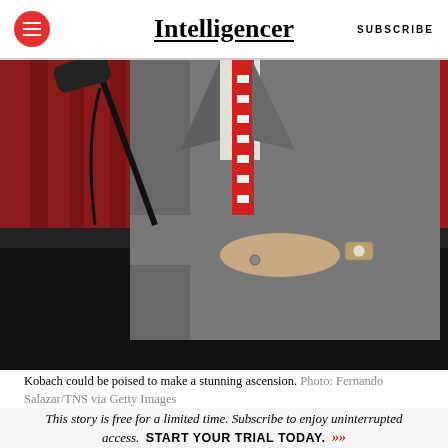Intelligencer | SUBSCRIBE
[Figure (photo): Man in grey suit with red striped tie standing at a podium with microphone, red curtain background, hand resting on podium surface, watch visible on wrist]
Kobach could be poised to make a stunning ascension. Photo: Fernando Salazar/TNS via Getty Images
This story is free for a limited time. Subscribe to enjoy uninterrupted access. START YOUR TRIAL TODAY. »»